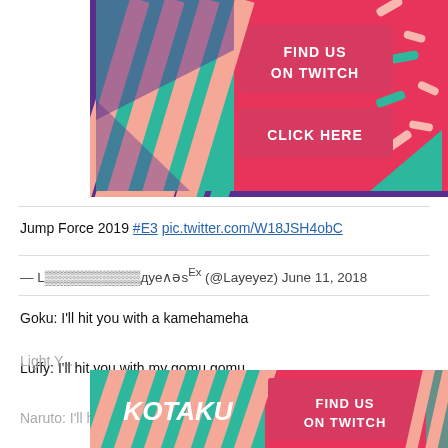[Figure (illustration): Colorful gaming/Twitch promotional banner with purple border, teal diagonal stripes, pink/red background, showing 'FIND US ON TWITCH' and 'CLICK HERE' buttons in pink on red rectangles, with decorative sprinkle shapes]
Jump Force 2019 #E3 pic.twitter.com/W18JSH4obC
— L▒▒▒▒▒▒▒▒▒▒дуе∧əsᴱˣ (@Layeyez) June 11, 2018
Goku: I'll hit you with a kamehameha
Luffy: I'll hit you with my gomu gomu
Naruto: I'll hit you with a
Light Y...
[Figure (illustration): Kotaku logo banner with 'FIND US ON TWITCH' button, pink/red and teal color scheme with diagonal stripe decorations]